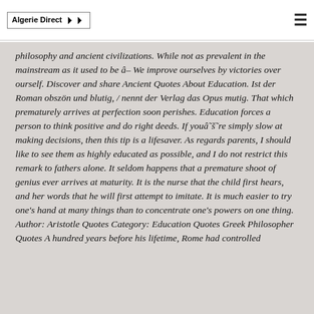Algerie Direct
philosophy and ancient civilizations. While not as prevalent in the mainstream as it used to be â¦ We improve ourselves by victories over ourself. Discover and share Ancient Quotes About Education. Ist der Roman obszön und blutig, / nennt der Verlag das Opus mutig. That which prematurely arrives at perfection soon perishes. Education forces a person to think positive and do right deeds. If youâre simply slow at making decisions, then this tip is a lifesaver. As regards parents, I should like to see them as highly educated as possible, and I do not restrict this remark to fathers alone. It seldom happens that a premature shoot of genius ever arrives at maturity. It is the nurse that the child first hears, and her words that he will first attempt to imitate. It is much easier to try one's hand at many things than to concentrate one's powers on one thing. Author: Aristotle Quotes Category: Education Quotes Greek Philosopher Quotes A hundred years before his lifetime, Rome had controlled